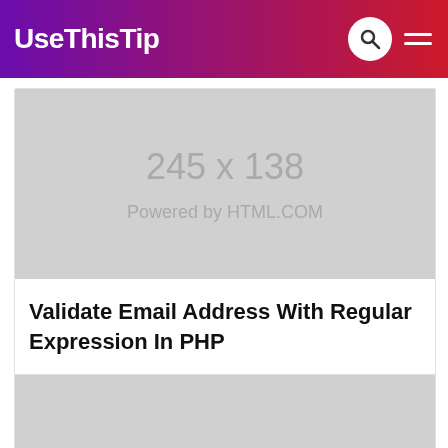UseThisTip
[Figure (photo): Placeholder image showing '245 x 138' and 'Powered by HTML.COM' text on grey background]
Validate Email Address With Regular Expression In PHP
[Figure (photo): Placeholder grey image, partially visible, second card]